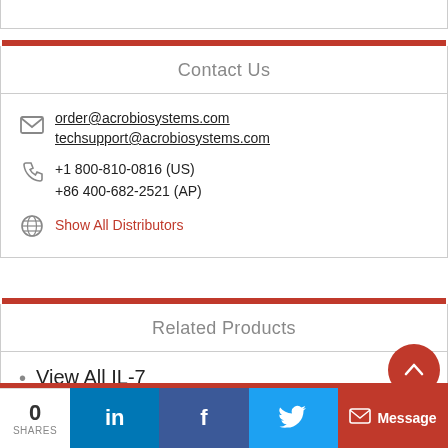Contact Us
order@acrobiosystems.com
techsupport@acrobiosystems.com
+1  800-810-0816 (US)
+86 400-682-2521 (AP)
Show All Distributors
Related Products
View All IL-7
Message
0
SHARES